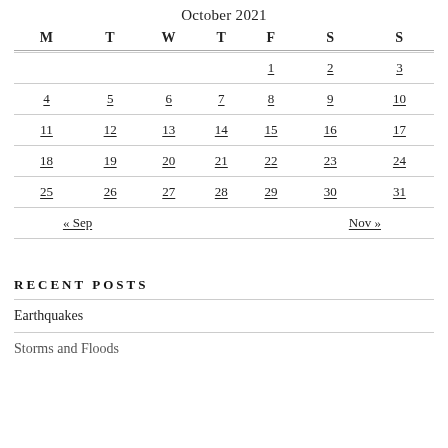October 2021
| M | T | W | T | F | S | S |
| --- | --- | --- | --- | --- | --- | --- |
|  |  |  |  | 1 | 2 | 3 |
| 4 | 5 | 6 | 7 | 8 | 9 | 10 |
| 11 | 12 | 13 | 14 | 15 | 16 | 17 |
| 18 | 19 | 20 | 21 | 22 | 23 | 24 |
| 25 | 26 | 27 | 28 | 29 | 30 | 31 |
| « Sep |  |  |  |  | Nov » |  |
RECENT POSTS
Earthquakes
Storms and Floods